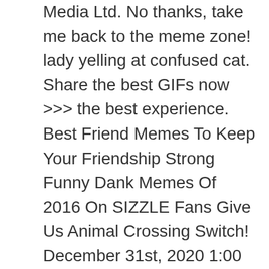Media Ltd. No thanks, take me back to the meme zone! lady yelling at confused cat. Share the best GIFs now >>> the best experience. Best Friend Memes To Keep Your Friendship Strong Funny Dank Memes Of 2016 On SIZZLE Fans Give Us Animal Crossing Switch! December 31st, 2020 1:00 PM. Potentially higher quality, but larger filesize. No Need For Flee Collar Funny Monkey Meme Picture. share. What If I Told You by Zorax. It operates in HTML5 canvas, so your images are created instantly on your own device. Funny Monkey Meme hat's A Valid Point Image. The item you've selected was not added to your cart. Funny Monkey Meme Cool Story Bro Picture.